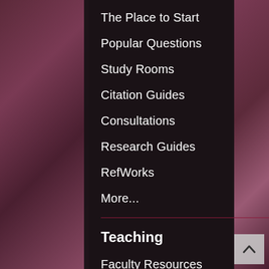The Place to Start
Popular Questions
Study Rooms
Citation Guides
Consultations
Research Guides
RefWorks
More...
Teaching
Faculty Resources